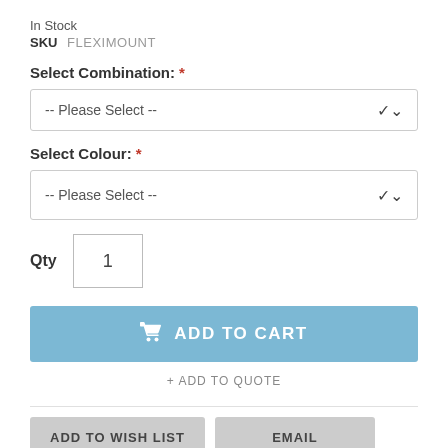In Stock
SKU  FLEXIMOUNT
Select Combination:  *
-- Please Select --
Select Colour:  *
-- Please Select --
Qty  1
ADD TO CART
+ ADD TO QUOTE
ADD TO WISH LIST
EMAIL